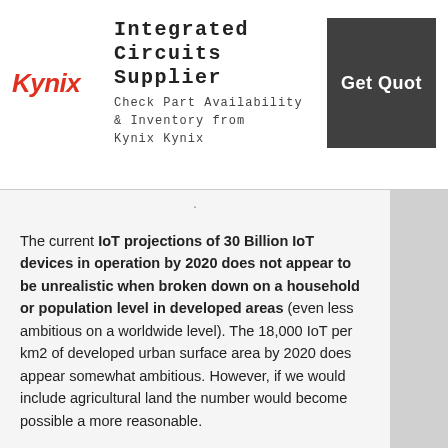[Figure (other): Kynix advertisement banner: Integrated Circuits Supplier - Check Part Availability & Inventory from Kynix Kynix, with Get Quote button]
The current IoT projections of 30 Billion IoT devices in operation by 2020 does not appear to be unrealistic when broken down on a household or population level in developed areas (even less ambitious on a worldwide level). The 18,000 IoT per km2 of developed urban surface area by 2020 does appear somewhat ambitious. However, if we would include agricultural land the number would become possible a more reasonable.
If you include street crossings, traffic radars, city-based video monitoring (e.g., London has approx. 300 per km2, Hong Kong ca. 200 per km2), city-based traffic sensors, environmental sensors, etc.. you are going to get to sizable numbers.
However, 18,000 per km2 in urban areas appears